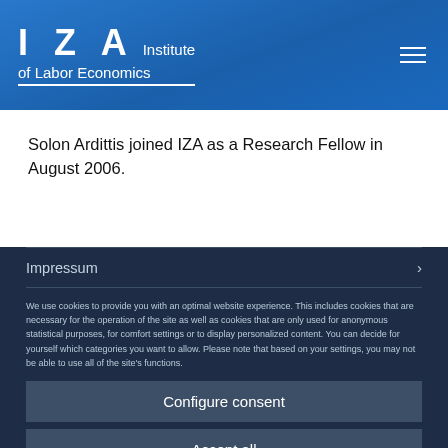IZA Institute of Labor Economics
Solon Ardittis joined IZA as a Research Fellow in August 2006.
Impressum
We use cookies to provide you with an optimal website experience. This includes cookies that are necessary for the operation of the site as well as cookies that are only used for anonymous statistical purposes, for comfort settings or to display personalized content. You can decide for yourself which categories you want to allow. Please note that based on your settings, you may not be able to use all of the site's functions.
Configure consent
Accept all